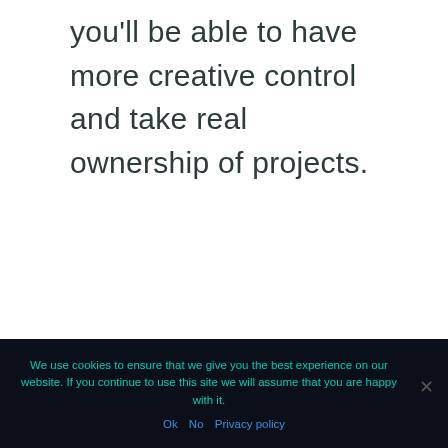you'll be able to have more creative control and take real ownership of projects.
We use cookies to ensure that we give you the best experience on our website. If you continue to use this site we will assume that you are happy with it.
Ok  No  Privacy policy